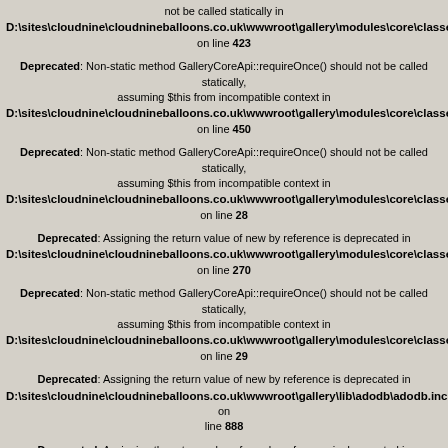not be called statically in D:\sites\cloudnine\cloudnineballoons.co.uk\wwwroot\gallery\modules\core\classes\GalleryTr on line 423
Deprecated: Non-static method GalleryCoreApi::requireOnce() should not be called statically, assuming $this from incompatible context in D:\sites\cloudnine\cloudnineballoons.co.uk\wwwroot\gallery\modules\core\classes\Gallery.cl on line 450
Deprecated: Non-static method GalleryCoreApi::requireOnce() should not be called statically, assuming $this from incompatible context in D:\sites\cloudnine\cloudnineballoons.co.uk\wwwroot\gallery\modules\core\classes\GallerySt on line 28
Deprecated: Assigning the return value of new by reference is deprecated in D:\sites\cloudnine\cloudnineballoons.co.uk\wwwroot\gallery\modules\core\classes\GallerySt on line 270
Deprecated: Non-static method GalleryCoreApi::requireOnce() should not be called statically, assuming $this from incompatible context in D:\sites\cloudnine\cloudnineballoons.co.uk\wwwroot\gallery\modules\core\classes\GallerySt on line 29
Deprecated: Assigning the return value of new by reference is deprecated in D:\sites\cloudnine\cloudnineballoons.co.uk\wwwroot\gallery\lib\adodb\adodb.inc.php on line 888
Deprecated: Assigning the return value of new by reference is deprecated in D:\sites\cloudnine\cloudnineballoons.co.uk\wwwroot\gallery\lib\adodb\adodb.inc.php on line 1856
Deprecated: Non-static method GalleryCoreApi::requireOnce() should not be called statically, assuming $this from incompatible context in D:\sites\cloudnine\cloudnineballoons.co.uk\wwwroot\gallery\modules\core\classes\GallerySt on line 268
[Figure (logo): Gallery 2.1 Upgrader logo with orange stylized 'Gallery' text and photo icon]